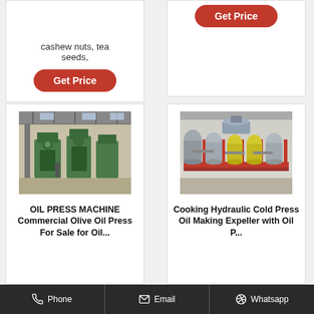cashew nuts, tea seeds,
Get Price
Get Price
[Figure (photo): Industrial oil press machines in a factory setting with green equipment]
OIL PRESS MACHINE Commercial Olive Oil Press For Sale for Oil...
[Figure (photo): Cooking hydraulic cold press oil making expeller equipment on red frame]
Cooking Hydraulic Cold Press Oil Making Expeller with Oil P...
Phone   Email   Whatsapp